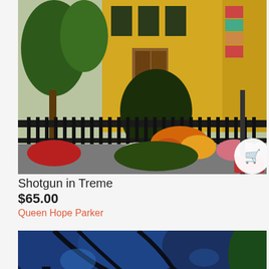[Figure (photo): Painting of a yellow shotgun house in the Treme neighborhood of New Orleans, with a black iron fence in the foreground, colorful flowers (orange, white, pink, red) in the garden, and green trees surrounding the building. A shopping cart button is overlaid at the bottom right.]
Shotgun in Treme
$65.00
Queen Hope Parker
[Figure (photo): Painting of a dark night scene with blue-toned trees and foliage, a red rose visible in the center, and hints of tropical plants with a deep, rich color palette.]